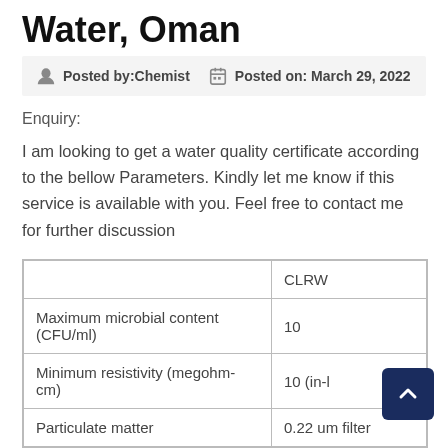Water, Oman
Posted by:Chemist   Posted on: March 29, 2022
Enquiry:
I am looking to get a water quality certificate according to the bellow Parameters. Kindly let me know if this service is available with you. Feel free to contact me for further discussion
|  | CLRW |
| --- | --- |
| Maximum microbial content (CFU/ml) | 10 |
| Minimum resistivity (megohm-cm) | 10 (in-l |
| Particulate matter | 0.22 um filter |